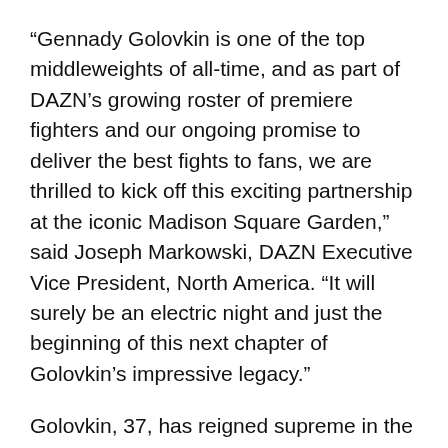“Gennady Golovkin is one of the top middleweights of all-time, and as part of DAZN’s growing roster of premiere fighters and our ongoing promise to deliver the best fights to fans, we are thrilled to kick off this exciting partnership at the iconic Madison Square Garden,” said Joseph Markowski, DAZN Executive Vice President, North America. “It will surely be an electric night and just the beginning of this next chapter of Golovkin’s impressive legacy.”
Golovkin, 37, has reigned supreme in the Middleweight Division for nearly a decade. Eighteen of his record 20 title defenses came by way of knockout — a 90% ratio — which is sure to remain the division’s highest knockout percentage for a world champion. Golovkin’s tenure as champion ended when he lost a hotly disputed majority decision in a rematch with Canelo Alvarez last